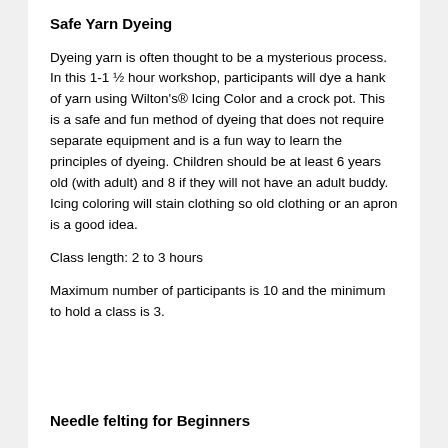Safe Yarn Dyeing
Dyeing yarn is often thought to be a mysterious process. In this 1-1 ½ hour workshop, participants will dye a hank of yarn using Wilton's® Icing Color and a crock pot. This is a safe and fun method of dyeing that does not require separate equipment and is a fun way to learn the principles of dyeing. Children should be at least 6 years old (with adult) and 8 if they will not have an adult buddy. Icing coloring will stain clothing so old clothing or an apron is a good idea.
Class length: 2 to 3 hours
Maximum number of participants is 10 and the minimum to hold a class is 3.
Needle felting for Beginners